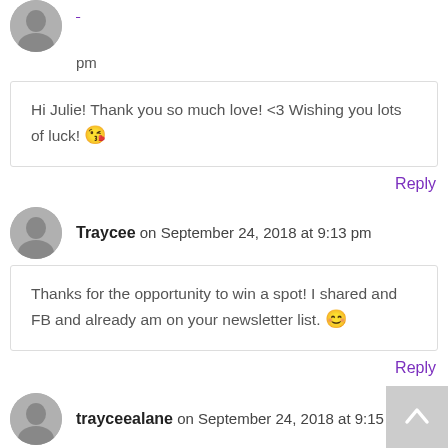pm
Hi Julie! Thank you so much love! <3 Wishing you lots of luck! 😘
Reply
Traycee on September 24, 2018 at 9:13 pm
Thanks for the opportunity to win a spot! I shared and FB and already am on your newsletter list. 😊
Reply
trayceealane on September 24, 2018 at 9:15 pm
Thanks for offering an opportunity to win! I posted on FB...